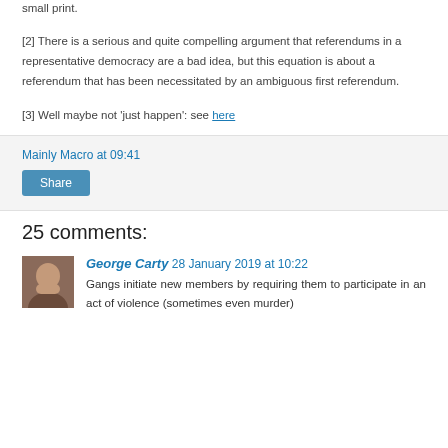small print.
[2] There is a serious and quite compelling argument that referendums in a representative democracy are a bad idea, but this equation is about a referendum that has been necessitated by an ambiguous first referendum.
[3] Well maybe not 'just happen': see here
Mainly Macro at 09:41
Share
25 comments:
George Carty 28 January 2019 at 10:22
Gangs initiate new members by requiring them to participate in an act of violence (sometimes even murder)